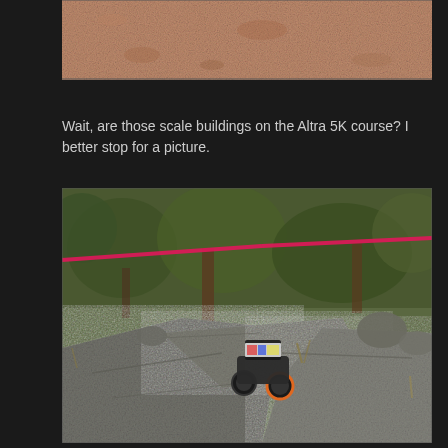[Figure (photo): Close-up photo of sandy/dusty dirt ground surface, reddish-brown color]
Wait, are those scale buildings on the Altra 5K course? I better stop for a picture.
[Figure (photo): Outdoor rocky trail scene with an RC (remote control) off-road buggy/crawler on flat rock slabs, surrounded by trees and brush, with a pink/red course marking rope visible in the background]